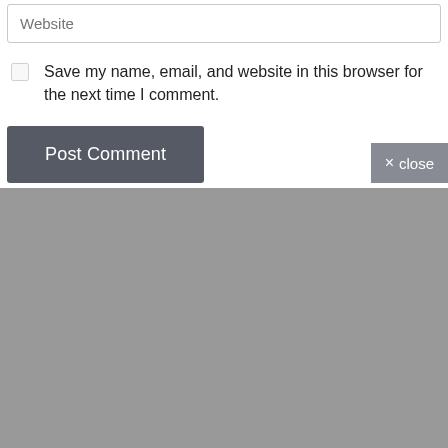Website
Save my name, email, and website in this browser for the next time I comment.
Post Comment
× close